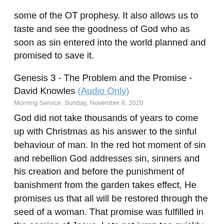some of the OT prophesy. It also allows us to taste and see the goodness of God who as soon as sin entered into the world planned and promised to save it.
Genesis 3 - The Problem and the Promise - David Knowles (Audio Only)
Morning Service, Sunday, November 8, 2020
God did not take thousands of years to come up with Christmas as his answer to the sinful behaviour of man. In the red hot moment of sin and rebellion God addresses sin, sinners and his creation and before the punishment of banishment from the garden takes effect, He promises us that all will be restored through the seed of a woman. That promise was fulfilled in the coming of Jesus. Lets not jump too quickly to Bethlehem lets understand God's plan from the perspective of Eden.